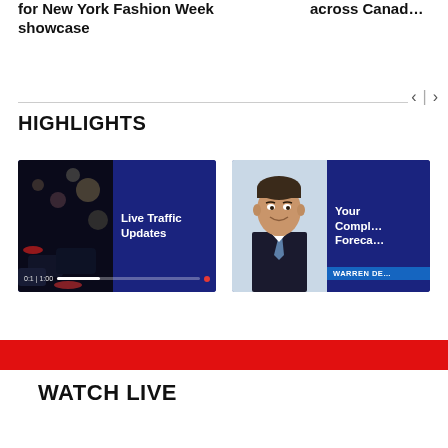for New York Fashion Week showcase
across Canad…
HIGHLIGHTS
[Figure (screenshot): Video thumbnail showing traffic jam at night with blue panel text reading 'Live Traffic Updates', with a video progress bar at the bottom]
[Figure (screenshot): Video thumbnail showing a man in a suit smiling, with blue panel text reading 'Your Complete Foreca…' and a lower bar labelled 'WARREN DE…']
WATCH LIVE